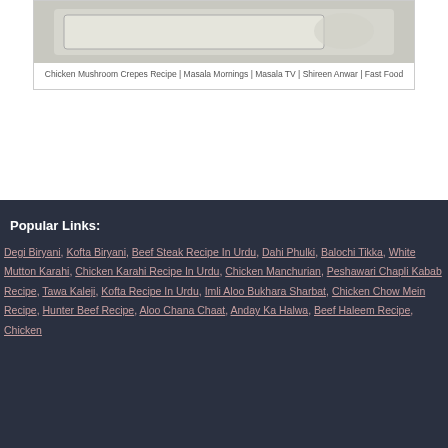[Figure (photo): Photo of a baking dish with chicken mushroom crepes, shown from above on a light background.]
Chicken Mushroom Crepes Recipe | Masala Mornings | Masala TV | Shireen Anwar | Fast Food
Popular Links:
Degi Biryani, Kofta Biryani, Beef Steak Recipe In Urdu, Dahi Phulki, Balochi Tikka, White Mutton Karahi, Chicken Karahi Recipe In Urdu, Chicken Manchurian, Peshawari Chapli Kabab Recipe, Tawa Kaleji, Kofta Recipe In Urdu, Imli Aloo Bukhara Sharbat, Chicken Chow Mein Recipe, Hunter Beef Recipe, Aloo Chana Chaat, Anday Ka Halwa, Beef Haleem Recipe, Chicken